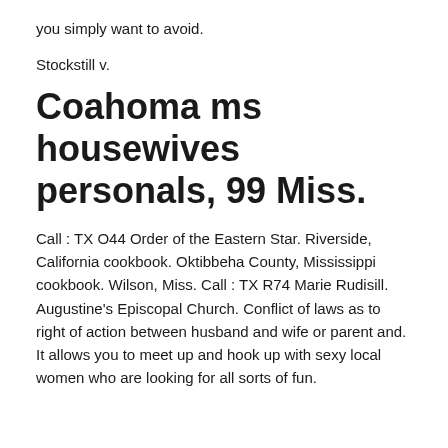you simply want to avoid.
Stockstill v.
Coahoma ms housewives personals, 99 Miss.
Call : TX O44 Order of the Eastern Star. Riverside, California cookbook. Oktibbeha County, Mississippi cookbook. Wilson, Miss. Call : TX R74 Marie Rudisill. Augustine's Episcopal Church. Conflict of laws as to right of action between husband and wife or parent and. It allows you to meet up and hook up with sexy local women who are looking for all sorts of fun.